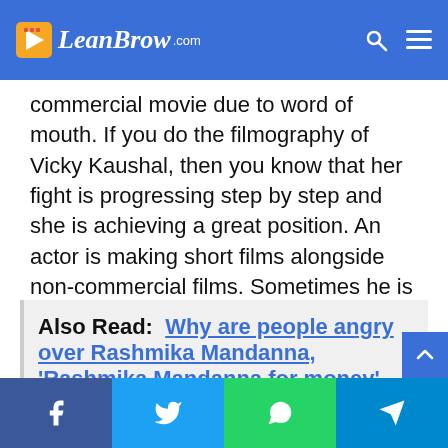LeanBrow.com
commercial movie due to word of mouth. If you do the filmography of Vicky Kaushal, then you know that her fight is progressing step by step and she is achieving a great position. An actor is making short films alongside non-commercial films. Sometimes he is also helping and is in front of Alia in Raazi, but is weaker than him, even though he is doing it.
Also Read:  Why are people angry over Rashmika Mandanna, 'Rashmika Mandanna for money', 'Srivalli'?
Social share buttons: Facebook, Twitter, WhatsApp, Telegram